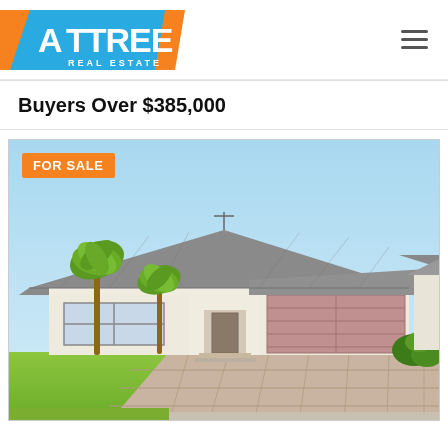[Figure (logo): Attree Real Estate logo — orange triangle on left, blue parallelogram shape with white ATTREE text and REAL ESTATE below, orange slash on right]
Buyers Over $385,000
[Figure (photo): Exterior photo of a single-storey suburban house with grey tiled hip roof, cream rendered walls, large double garage with pink/mauve roller door, brick paved driveway, palm trees and garden on left, blue sky background. FOR SALE badge overlaid top-left.]